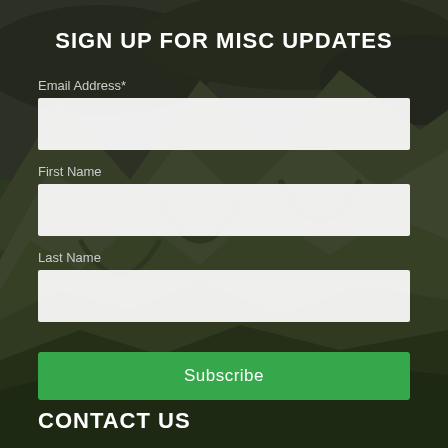[Figure (photo): Mountain landscape with green ridges and valleys, dark sky overhead, serving as background]
SIGN UP FOR MISC UPDATES
Email Address*
First Name
Last Name
Subscribe
CONTACT US